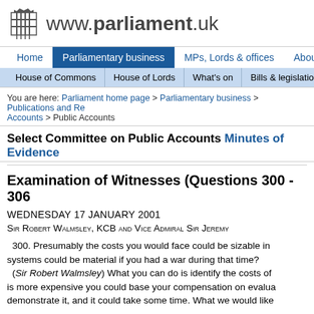[Figure (logo): UK Parliament portcullis logo with text www.parliament.uk]
www.parliament.uk
Home | Parliamentary business | MPs, Lords & offices | About P
House of Commons | House of Lords | What's on | Bills & legislation
You are here: Parliament home page > Parliamentary business > Publications and Re... Accounts > Public Accounts
Select Committee on Public Accounts Minutes of Evidence
Examination of Witnesses (Questions 300 - 306
WEDNESDAY 17 JANUARY 2001
SIR ROBERT WALMSLEY, KCB AND VICE ADMIRAL SIR JEREMY
300. Presumably the costs you would face could be sizable in... systems could be material if you had a war during that time?
(Sir Robert Walmsley) What you can do is identify the costs of... is more expensive you could base your compensation on evalua... demonstrate it, and it could take some time. What we would like...